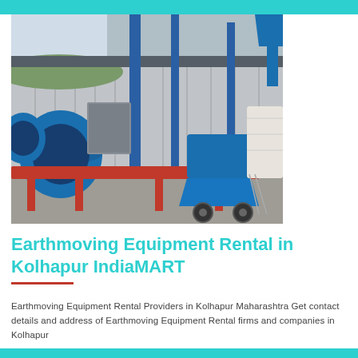[Figure (photo): Industrial earthmoving / construction equipment in a warehouse setting. Blue conveyor machinery and cylindrical drum equipment on red metal frames, inside a corrugated metal shed.]
Earthmoving Equipment Rental in Kolhapur IndiaMART
Earthmoving Equipment Rental Providers in Kolhapur Maharashtra Get contact details and address of Earthmoving Equipment Rental firms and companies in Kolhapur